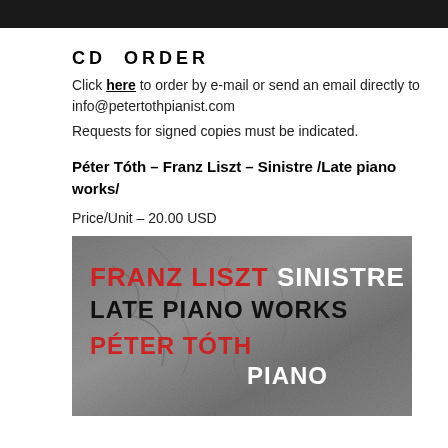CD ORDER
Click here to order by e-mail or send an email directly to info@petertothpianist.com
Requests for signed copies must be indicated.
Péter Tóth – Franz Liszt – Sinistre /Late piano works/
Price/Unit – 20.00 USD
[Figure (photo): CD album cover for Franz Liszt Sinistre Late Piano Works performed by Péter Tóth Piano, showing textured stone/rock surface with red and white text overlay]